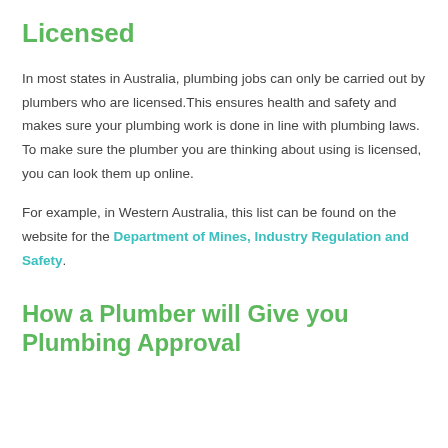Licensed
In most states in Australia, plumbing jobs can only be carried out by plumbers who are licensed.This ensures health and safety and makes sure your plumbing work is done in line with plumbing laws. To make sure the plumber you are thinking about using is licensed, you can look them up online.
For example, in Western Australia, this list can be found on the website for the Department of Mines, Industry Regulation and Safety.
How a Plumber will Give you Plumbing Approval